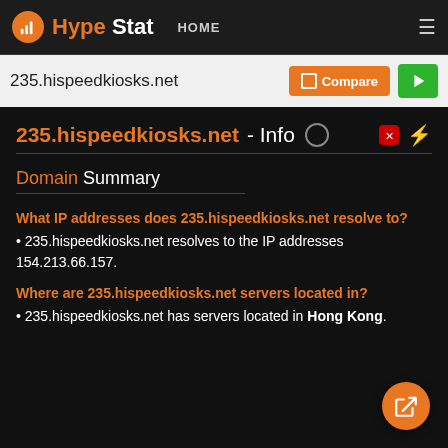HypeStat HOME
235.hispeedkiosks.net
235.hispeedkiosks.net - Info
Domain Summary
What IP addresses does 235.hispeedkiosks.net resolve to?
235.hispeedkiosks.net resolves to the IP addresses 154.213.66.157.
Where are 235.hispeedkiosks.net servers located in?
235.hispeedkiosks.net has servers located in Hong Kong.